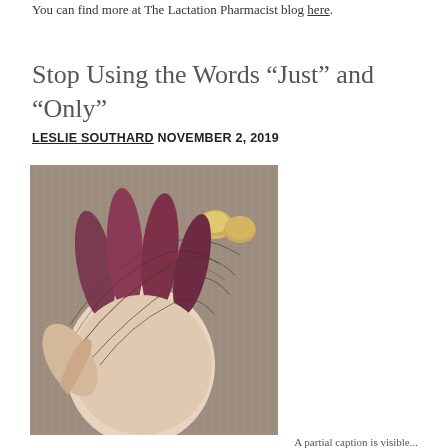You can find more at The Lactation Pharmacist blog here.
Stop Using the Words “Just” and “Only”
LESLIE SOUTHARD NOVEMBER 2, 2019
[Figure (photo): A close-up photo of a hand with hair wrapped around the fingers, causing them to appear dark red/purple. A carpet background is visible with some small round objects in the upper right.]
A partial caption is visible at the bottom right.